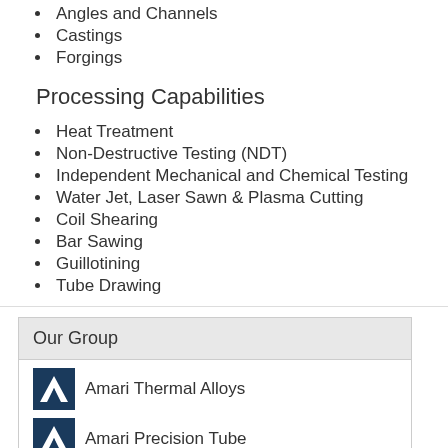Angles and Channels
Castings
Forgings
Processing Capabilities
Heat Treatment
Non-Destructive Testing (NDT)
Independent Mechanical and Chemical Testing
Water Jet, Laser Sawn & Plasma Cutting
Coil Shearing
Bar Sawing
Guillotining
Tube Drawing
Our Group
Amari Thermal Alloys
Amari Precision Tube
Amari High Integrity Metals